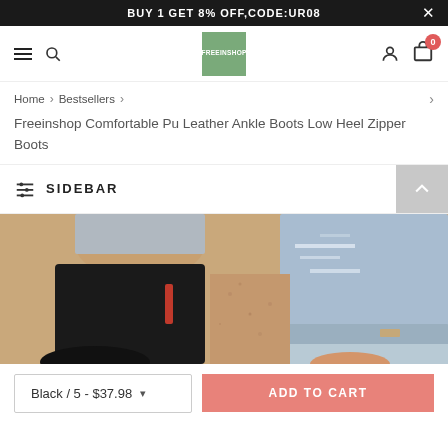BUY 1 GET 8% OFF,CODE:UR08
[Figure (screenshot): E-commerce website navigation bar with hamburger menu, search icon, Freeinshop logo (green square), user icon, and cart icon with badge showing 0]
Home > Bestsellers >
Freeinshop Comfortable Pu Leather Ankle Boots Low Heel Zipper Boots
SIDEBAR
[Figure (photo): Close-up photo of a person wearing black PU leather ankle boots with a red zipper detail, paired with ripped denim jeans, standing on a stone/concrete surface]
Black / 5 - $37.98  ADD TO CART